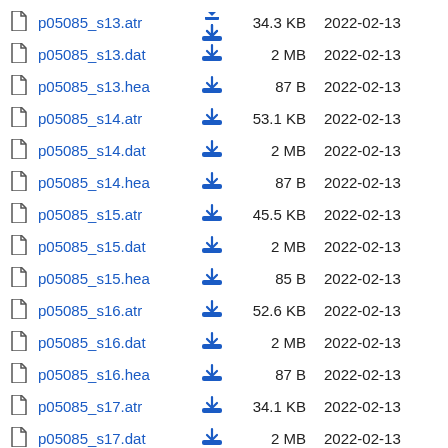p05085_s13.atr  34.3 KB  2022-02-13
p05085_s13.dat  2 MB  2022-02-13
p05085_s13.hea  87 B  2022-02-13
p05085_s14.atr  53.1 KB  2022-02-13
p05085_s14.dat  2 MB  2022-02-13
p05085_s14.hea  87 B  2022-02-13
p05085_s15.atr  45.5 KB  2022-02-13
p05085_s15.dat  2 MB  2022-02-13
p05085_s15.hea  85 B  2022-02-13
p05085_s16.atr  52.6 KB  2022-02-13
p05085_s16.dat  2 MB  2022-02-13
p05085_s16.hea  87 B  2022-02-13
p05085_s17.atr  34.1 KB  2022-02-13
p05085_s17.dat  2 MB  2022-02-13